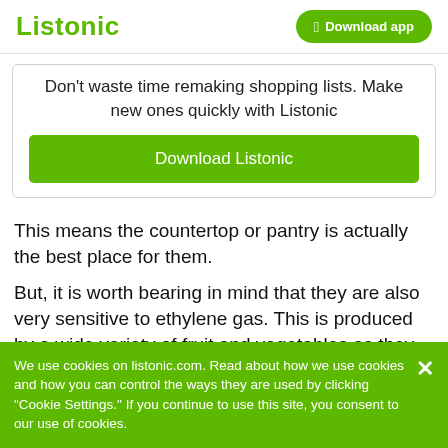Listonic  Download app
Don't waste time remaking shopping lists. Make new ones quickly with Listonic
Download Listonic
This means the countertop or pantry is actually the best place for them.
But, it is worth bearing in mind that they are also very sensitive to ethylene gas. This is produced by a wide variety of fruit and vegetables as they ripen
We use cookies on listonic.com. Read about how we use cookies and how you can control the ways they are used by clicking "Cookie Settings." If you continue to use this site, you consent to our use of cookies.